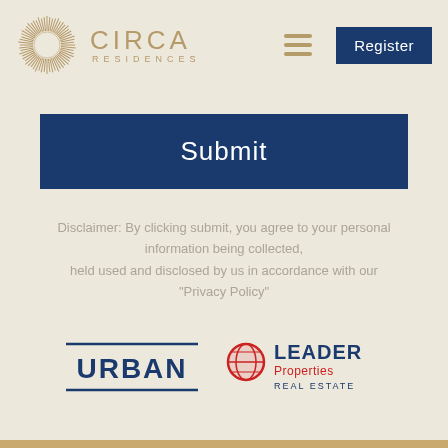[Figure (logo): Circa Residences logo with sun/starburst emblem and text]
[Figure (other): Hamburger menu icon (three horizontal lines)]
[Figure (other): Register button in navy blue]
[Figure (other): Submit button in navy blue]
Disclaimer: By clicking submit, you agree to your personal information being collected, held used and disclosed by us in accordance with our "Privacy Policy"
[Figure (logo): URBAN logo in navy blue with underline]
[Figure (logo): Leader Properties Real Estate logo with globe icon in red and navy text]